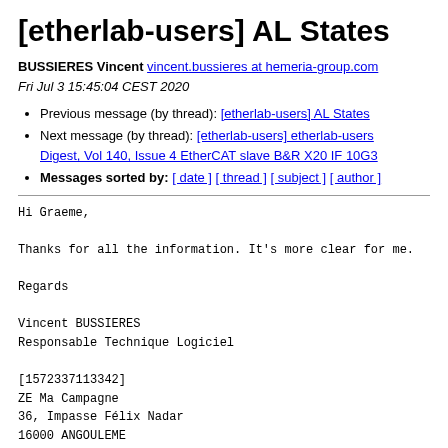[etherlab-users] AL States
BUSSIERES Vincent vincent.bussieres at hemeria-group.com
Fri Jul 3 15:45:04 CEST 2020
Previous message (by thread): [etherlab-users] AL States
Next message (by thread): [etherlab-users] etherlab-users Digest, Vol 140, Issue 4 EtherCAT slave B&R X20 IF 10G3
Messages sorted by: [ date ] [ thread ] [ subject ] [ author ]
Hi Graeme,

Thanks for all the information. It's more clear for me.

Regards

Vincent BUSSIERES
Responsable Technique Logiciel

[1572337113342]
ZE Ma Campagne
36, Impasse Félix Nadar
16000 ANGOULEME
Tel: 33 (0)9.72.40.35.08
www.hemeria-